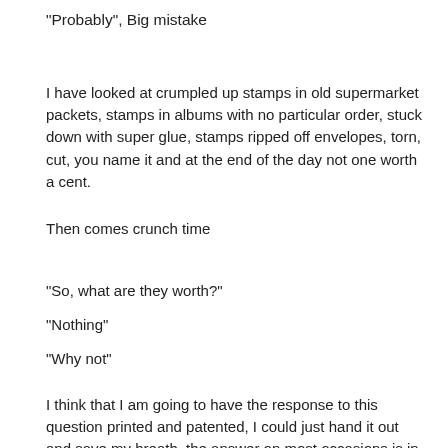"Probably", Big mistake
I have looked at crumpled up stamps in old supermarket packets, stamps in albums with no particular order, stuck down with super glue, stamps ripped off envelopes, torn, cut, you name it and at the end of the day not one worth a cent.
Then comes crunch time
"So, what are they worth?"
"Nothing"
"Why not"
I think that I am going to have the response to this question printed and patented, I could just hand it out and save my breath, the answer on most occasions is in any case viewed with disbelief. Often the stamps